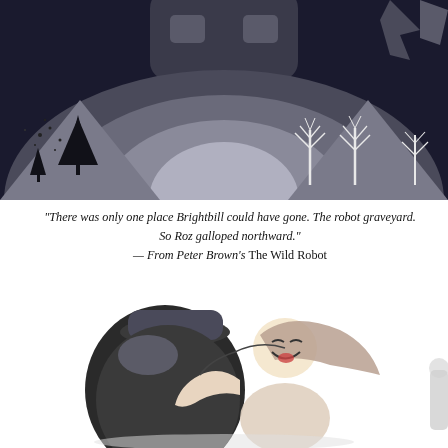[Figure (illustration): Grayscale stylized illustration of a robot/mechanical figure in a forest landscape with arched hills, pine trees, and bare white branching trees against a dark sky. Geometric and painterly style.]
"There was only one place Brightbill could have gone. The robot graveyard. So Roz galloped northward." — From Peter Brown's The Wild Robot
[Figure (illustration): Black and white sketch illustration of a child with long hair joyfully hugging what appears to be a large robot or mechanical figure, both depicted with warmth and emotion.]